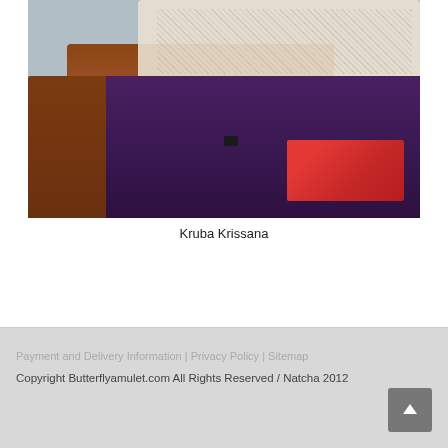[Figure (photo): Photograph showing lower bodies of two people standing/kneeling on a grey tiled floor. Left person wears brown monk robes and dark sandals. Right person wears white lace top and dark patterned skirt, kneeling with colorful bags. A black phone/wallet lies on the floor between them.]
Kruba Krissana
Payment and Delivery Information | Privacy Policy | Sitemap
Copyright Butterflyamulet.com All Rights Reserved / Natcha 2012